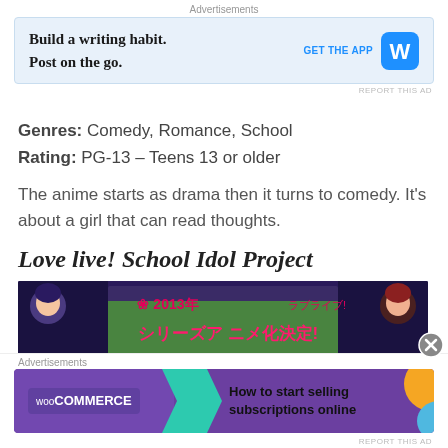[Figure (screenshot): Top advertisement banner: 'Build a writing habit. Post on the go.' with WordPress logo and 'GET THE APP' button on blue background]
Genres: Comedy, Romance, School
Rating: PG-13 – Teens 13 or older
The anime starts as drama then it turns to comedy. It's about a girl that can read thoughts.
Love live! School Idol Project
[Figure (illustration): Anime promotional image for Love Live! School Idol Project showing anime characters with Japanese text reading '2013年 シリーズアニメ化決定!' (2013 Series Anime Adaptation Confirmed!)]
[Figure (screenshot): Bottom advertisement for WooCommerce: 'How to start selling subscriptions online' with teal arrow, purple background, and orange accent]